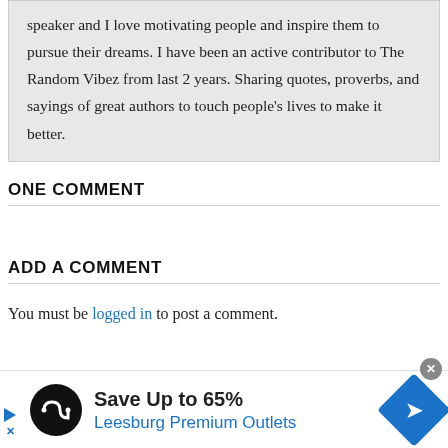speaker and I love motivating people and inspire them to pursue their dreams. I have been an active contributor to The Random Vibez from last 2 years. Sharing quotes, proverbs, and sayings of great authors to touch people's lives to make it better.
ONE COMMENT
ADD A COMMENT
You must be logged in to post a comment.
[Figure (infographic): Advertisement banner: Save Up to 65% Leesburg Premium Outlets with logo and directional arrow diamond icon]